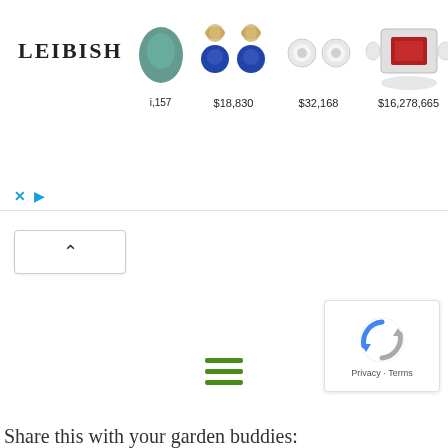[Figure (screenshot): LEIBISH jewelry advertisement banner showing gemstones and jewelry items with prices: $4,157 (partial), $18,830, $32,168, $16,278,665, $15,100, $19 (partial). Items include a blue-green gemstone, sapphire earrings, diamond halo earrings, diamond halo ring with red center stone, pink oval gemstone, and yellow heart-shaped gemstone.]
[Figure (screenshot): Collapse/minimize button with upward-pointing caret arrow on white background with border]
[Figure (screenshot): Hamburger menu icon with three horizontal green lines]
[Figure (screenshot): Google reCAPTCHA badge with circular arrow logo and Privacy · Terms text]
Share this with your garden buddies: